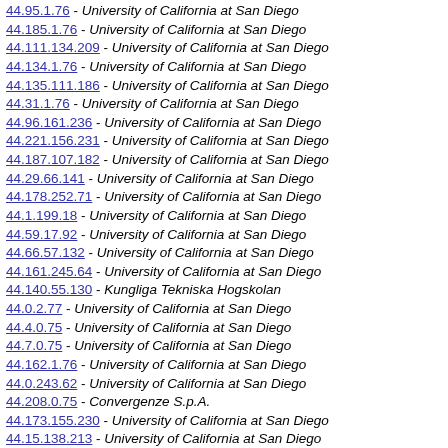44.95.1.76 - University of California at San Diego
44.185.1.76 - University of California at San Diego
44.111.134.209 - University of California at San Diego
44.134.1.76 - University of California at San Diego
44.135.111.186 - University of California at San Diego
44.31.1.76 - University of California at San Diego
44.96.161.236 - University of California at San Diego
44.221.156.231 - University of California at San Diego
44.187.107.182 - University of California at San Diego
44.29.66.141 - University of California at San Diego
44.178.252.71 - University of California at San Diego
44.1.199.18 - University of California at San Diego
44.59.17.92 - University of California at San Diego
44.66.57.132 - University of California at San Diego
44.161.245.64 - University of California at San Diego
44.140.55.130 - Kungliga Tekniska Hogskolan
44.0.2.77 - University of California at San Diego
44.4.0.75 - University of California at San Diego
44.7.0.75 - University of California at San Diego
44.162.1.76 - University of California at San Diego
44.0.243.62 - University of California at San Diego
44.208.0.75 - Convergenze S.p.A.
44.173.155.230 - University of California at San Diego
44.15.138.213 - University of California at San Diego
44.209.155.230 - University of California at San Diego
44.43.193.12 - University of California at San Diego
44.100.240.59 - University of California at San Diego
44.94.11.86 - University of California at San Diego
44.22.88.163 - University of California at San Diego
44.125.11.86 - University of California at San Diego
44.131.101.170 - University of California at San Diego